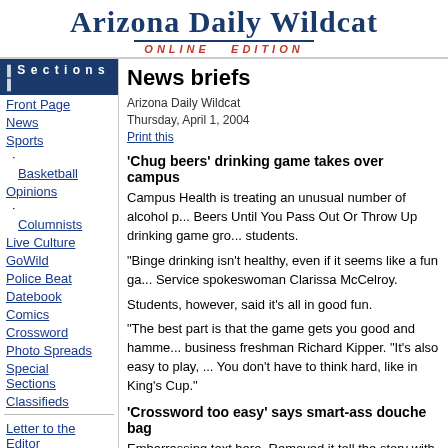Arizona Daily Wildcat ONLINE EDITION
News briefs
Arizona Daily Wildcat
Thursday, April 1, 2004
Print this
'Chug beers' drinking game takes over campus
Campus Health is treating an unusual number of alcohol p... Beers Until You Pass Out Or Throw Up drinking game gro... students.
"Binge drinking isn't healthy, even if it seems like a fun ga... Service spokeswoman Clarissa McCelroy.
Students, however, said it's all in good fun.
"The best part is that the game gets you good and hamme... business freshman Richard Kipper. "It's also easy to play, ... You don't have to think hard, like in King's Cup."
'Crossword too easy' says smart-ass douche bag
Front Page
News
Sports
· Basketball
Opinions
· Columnists
Live Culture
GoWild
Police Beat
Datebook
Comics
Crossword
Photo Spreads
Special Sections
Classifieds
Letter to the Editor